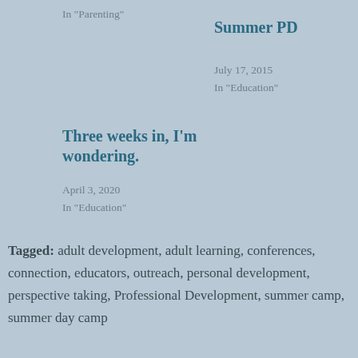In "Parenting"
Summer PD
July 17, 2015
In "Education"
Three weeks in, I'm wondering.
April 3, 2020
In "Education"
Tagged: adult development, adult learning, conferences, connection, educators, outreach, personal development, perspective taking, Professional Development, summer camp, summer day camp